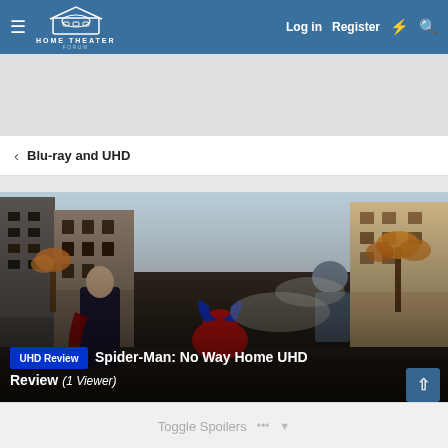Home Theater Forum — Log in | Register
Blu-ray and UHD
[Figure (screenshot): Spider-Man: No Way Home movie scene showing Spider-Man and Doctor Strange in a street fight, with autumn trees and city buildings in background. Overlay text: UHD Review badge and 'Spider-Man: No Way Home UHD Review (1 Viewer)']
Toggle Spoilers